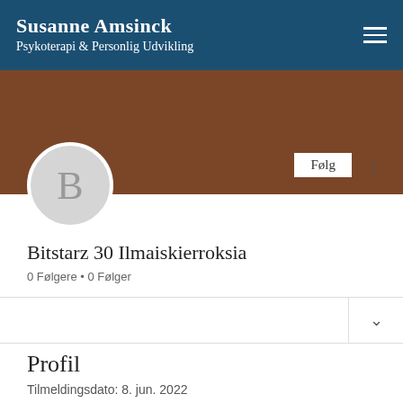Susanne Amsinck
Psykoterapi & Personlig Udvikling
[Figure (photo): Brown/tan cover banner image for a profile page]
[Figure (illustration): Circular grey avatar with letter B]
Følg
Bitstarz 30 Ilmaiskierroksia
0 Følgere • 0 Følger
Profil
Tilmeldingsdato: 8. jun. 2022